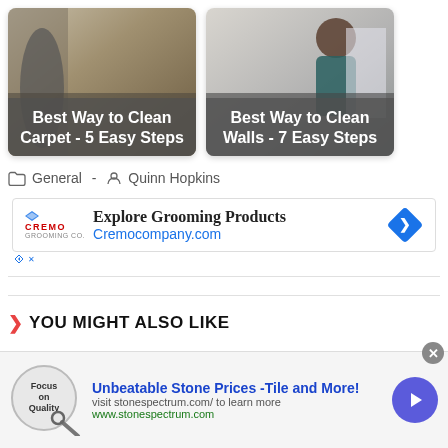[Figure (photo): Thumbnail image of carpet being cleaned with overlay text: Best Way to Clean Carpet - 5 Easy Steps]
[Figure (photo): Thumbnail image of a person cleaning a wall with overlay text: Best Way to Clean Walls - 7 Easy Steps]
General  -  Quinn Hopkins
[Figure (other): Advertisement banner: Explore Grooming Products, Cremocompany.com, with Cremo logo and blue diamond arrow icon]
YOU MIGHT ALSO LIKE
[Figure (other): Bottom advertisement: Unbeatable Stone Prices -Tile and More! visit stonespectrum.com/ to learn more, www.stonespectrum.com, with Focus on Quality badge and blue arrow button]